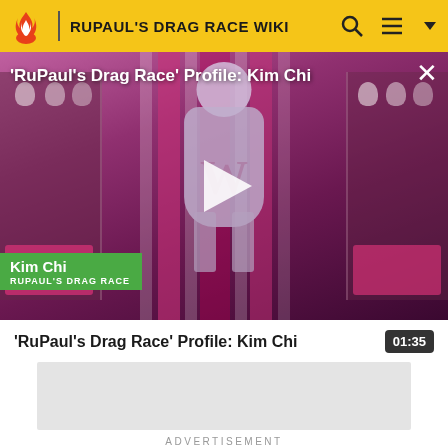RUPAUL'S DRAG RACE WIKI
[Figure (screenshot): Video thumbnail showing Kim Chi in drag performing on the RuPaul's Drag Race stage with pink and white striped backdrop, dressed in lavender outfit. Play button overlay in center. Title 'RuPaul's Drag Race' Profile: Kim Chi' shown at top. Green lower-third name tag showing 'Kim Chi / RUPAUL'S DRAG RACE'.]
'RuPaul's Drag Race' Profile: Kim Chi
01:35
ADVERTISEMENT